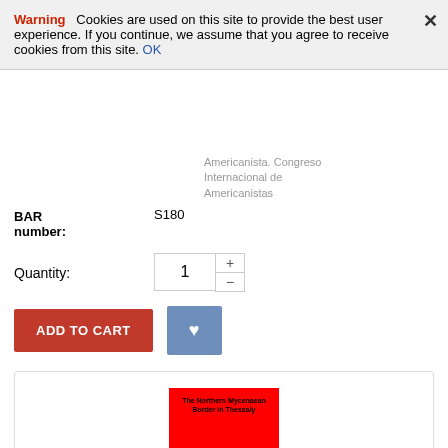Warning  Cookies are used on this site to provide the best user experience. If you continue, we assume that you agree to receive cookies from this site. OK
Americanista. Congreso Internacional de Americanistas
BAR number: S180
Quantity: 1
[Figure (screenshot): ADD TO CART button (red) and wishlist heart button (blue-grey)]
[Figure (photo): Red book cover: The Northern Mycenaean Border in Thessaly]
The Northern Mycenaean Border in Thessaly